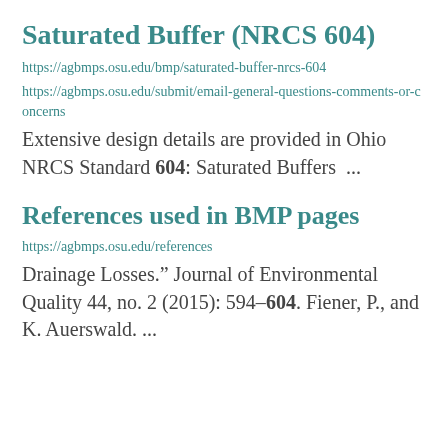Saturated Buffer (NRCS 604)
https://agbmps.osu.edu/bmp/saturated-buffer-nrcs-604
https://agbmps.osu.edu/submit/email-general-questions-comments-or-concerns
Extensive design details are provided in Ohio NRCS Standard 604: Saturated Buffers  ...
References used in BMP pages
https://agbmps.osu.edu/references
Drainage Losses.” Journal of Environmental Quality 44, no. 2 (2015): 594–604. Fiener, P., and K. Auerswald. ...